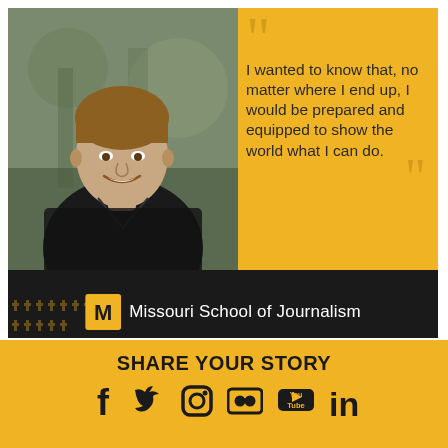[Figure (photo): Portrait photo of Josh, a young man smiling, wearing a black shirt, with outdoor background. Gold/yellow background with quote on right side. Name label 'Josh / Strategic Communication' below photo. Missouri School of Journalism logo in black footer bar.]
I wanted to know that, no matter where I end up, I would be prepared and equipped to show the world what I can do.
Josh
Strategic Communication
Missouri School of Journalism
SHARE YOUR STORY